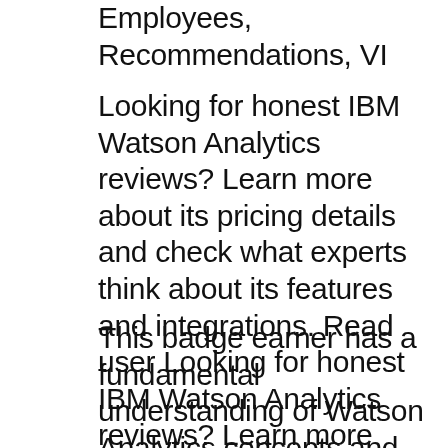Employees, Recommendations, VI
Looking for honest IBM Watson Analytics reviews? Learn more about its pricing details and check what experts think about its features and integrations. Read user Looking for honest IBM Watson Analytics reviews? Learn more about its pricing details and check what experts think about its features and integrations. Read user
This badge earner has a fundamental understanding of Watson Analytics concepts and capabilities. These include uploading and refining data sets; Follow IBM Training. Learning IBM Watson Analytics eBook: IBM Watson Analytics